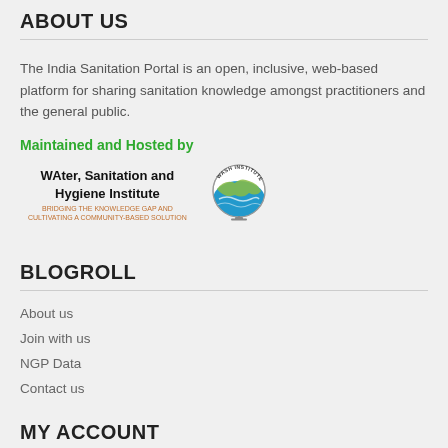ABOUT US
The India Sanitation Portal is an open, inclusive, web-based platform for sharing sanitation knowledge amongst practitioners and the general public.
Maintained and Hosted by
[Figure (logo): WAter, Sanitation and Hygiene Institute logo with globe graphic and tagline text]
BLOGROLL
About us
Join with us
NGP Data
Contact us
MY ACCOUNT